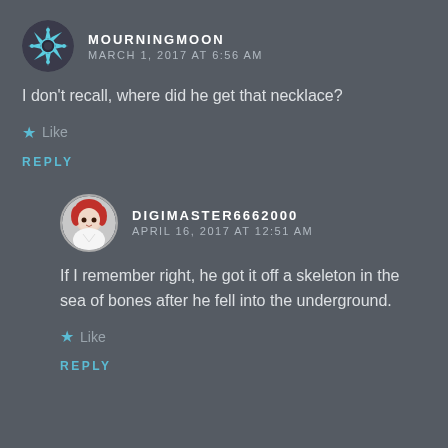MOURNINGMOON
MARCH 1, 2017 AT 6:56 AM
I don't recall, where did he get that necklace?
★ Like
REPLY
DIGIMASTER6662000
APRIL 16, 2017 AT 12:51 AM
If I remember right, he got it off a skeleton in the sea of bones after he fell into the underground.
★ Like
REPLY